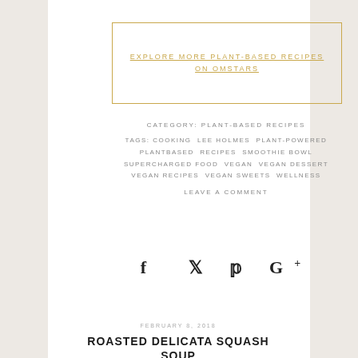EXPLORE MORE PLANT-BASED RECIPES ON OMSTARS
CATEGORY: PLANT-BASED RECIPES
TAGS: COOKING LEE HOLMES PLANT-POWERED PLANTBASED RECIPES SMOOTHIE BOWL SUPERCHARGED FOOD VEGAN VEGAN DESSERT VEGAN RECIPES VEGAN SWEETS WELLNESS
LEAVE A COMMENT
[Figure (infographic): Social media share icons: Facebook, Twitter, Pinterest, Google+]
FEBRUARY 8, 2018
ROASTED DELICATA SQUASH SOUP